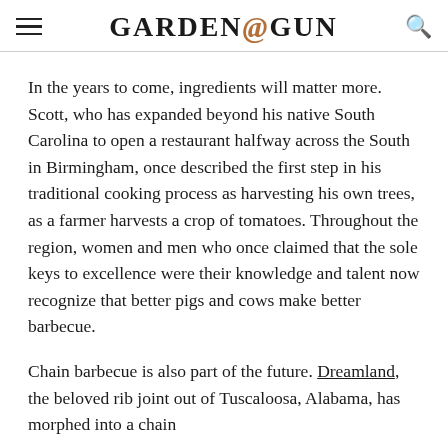GARDEN&GUN
In the years to come, ingredients will matter more. Scott, who has expanded beyond his native South Carolina to open a restaurant halfway across the South in Birmingham, once described the first step in his traditional cooking process as harvesting his own trees, as a farmer harvests a crop of tomatoes. Throughout the region, women and men who once claimed that the sole keys to excellence were their knowledge and talent now recognize that better pigs and cows make better barbecue.
Chain barbecue is also part of the future. Dreamland, the beloved rib joint out of Tuscaloosa, Alabama, has morphed into a chain